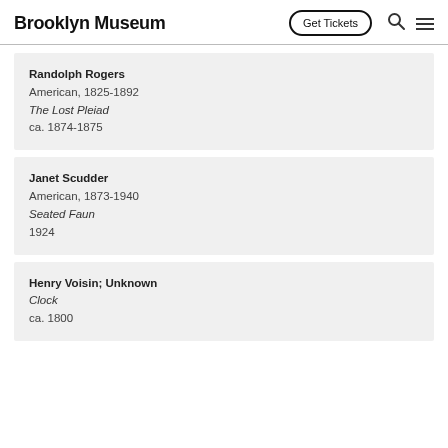Brooklyn Museum  Get Tickets
Randolph Rogers
American, 1825-1892
The Lost Pleiad
ca. 1874-1875
Janet Scudder
American, 1873-1940
Seated Faun
1924
Henry Voisin; Unknown
Clock
ca. 1800